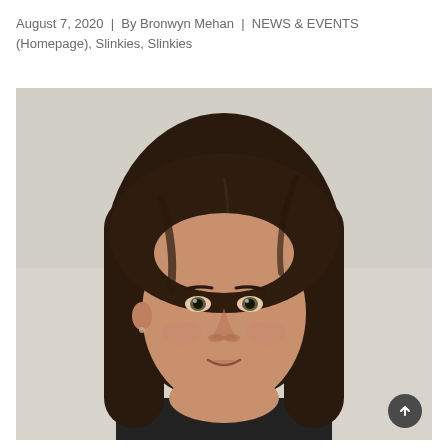August 7, 2020  |  By Bronwyn Mehan  |  NEWS & EVENTS (Homepage), Slinkies, Slinkies
[Figure (photo): Headshot of a young woman with long dark brown hair, smiling slightly, against a light beige/grey background. She appears to be Bronwyn Mehan.]